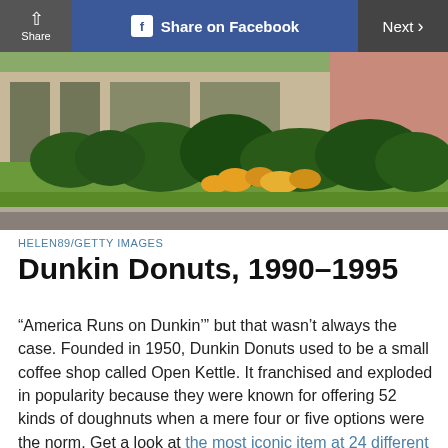Share | Share on Facebook | Next >
[Figure (photo): Exterior of a Dunkin Donuts building with green landscaping, shrubs, and yellow flowers in front, viewed from a parking lot.]
HELEN89/GETTY IMAGES
Dunkin Donuts, 1990–1995
“America Runs on Dunkin’” but that wasn’t always the case. Founded in 1950, Dunkin Donuts used to be a small coffee shop called Open Kettle. It franchised and exploded in popularity because they were known for offering 52 kinds of doughnuts when a mere four or five options were the norm. Get a look at the most iconic item at 24 different fast-food chains.